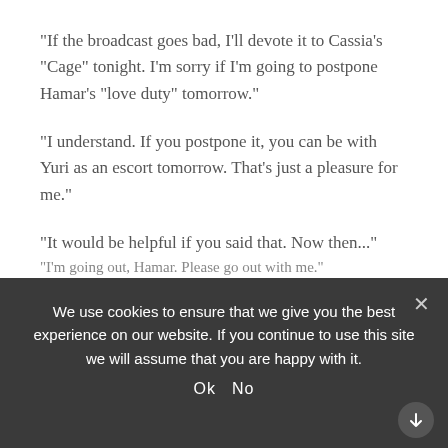“If the broadcast goes bad, I’ll devote it to Cassia’s “Cage” tonight. I’m sorry if I’m going to postpone Hamar’s “love duty” tomorrow.”
“I understand. If you postpone it, you can be with Yuri as an escort tomorrow. That’s just a pleasure for me.”
“It would be helpful if you said that. Now then...”
The bundle of documents that had been read was tapped on the desk to align the edges.
“I’m going out, Hamar. Please go out with me.”
We use cookies to ensure that we give you the best experience on our website. If you continue to use this site we will assume that you are happy with it.
Ok   No